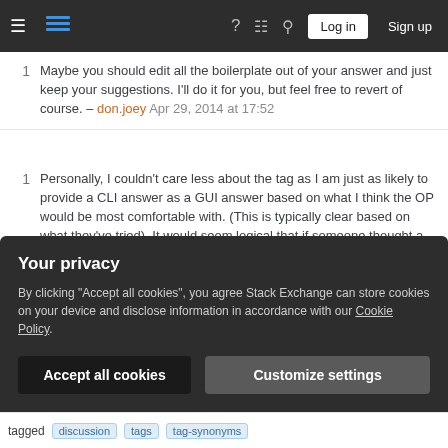Stack Exchange navigation bar with hamburger menu, logo, help, chat, search icons, Log in and Sign up buttons
1 Maybe you should edit all the boilerplate out of your answer and just keep your suggestions. I'll do it for you, but feel free to revert of course. – don.joey Apr 29, 2014 at 17:52
1 Personally, I couldn't care less about the tag as I am just as likely to provide a CLI answer as a GUI answer based on what I think the OP would be most comfortable with. (This is typically clear based on what they've tried). It would seem logical that if someone thought a tag applied someone else might think so too and might find the answer that way. An obvious mis-tag like apt for a question about unity I would likely remove but in most cases I'd rather answer the
Your privacy
By clicking "Accept all cookies", you agree Stack Exchange can store cookies on your device and disclose information in accordance with our Cookie Policy.
Accept all cookies   Customize settings
tagged  discussion  tags  tag-synonyms